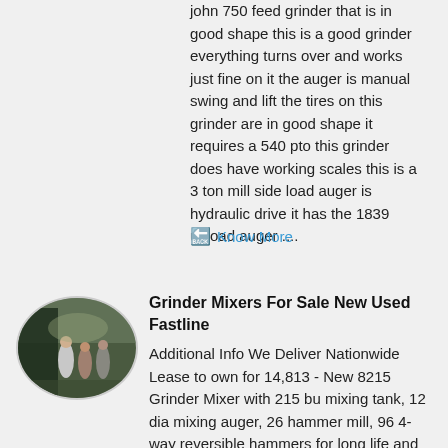john 750 feed grinder that is in good shape this is a good grinder everything turns over and works just fine on it the auger is manual swing and lift the tires on this grinder are in good shape it requires a 540 pto this grinder does have working scales this is a 3 ton mill side load auger is hydraulic drive it has the 1839 unload auger ....
Know More
[Figure (photo): Oval-shaped thumbnail photo of people standing near machinery or equipment in an outdoor or industrial setting]
Grinder Mixers For Sale New Used Fastline
Additional Info We Deliver Nationwide Lease to own for 14,813 - New 8215 Grinder Mixer with 215 bu mixing tank, 12 dia mixing auger, 26 hammer mill, 96 4-way reversible hammers for long life and low maintenance, 10 dia 118 long auger feeder, wireless remote controlled hybrid hydraulic system, supplement hopper